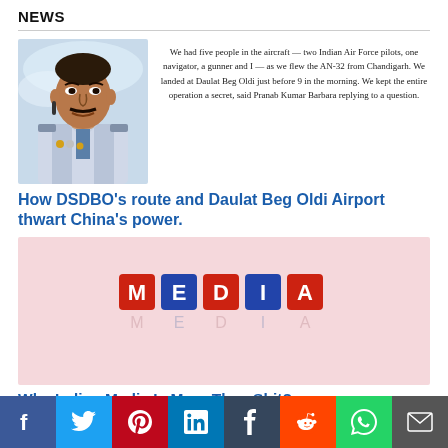NEWS
[Figure (illustration): Portrait illustration of an Indian Air Force officer in uniform alongside a handwritten-style quote about flying the AN-32 from Chandigarh to Daulat Beg Oldi]
How DSDBO's route and Daulat Beg Oldi Airport thwart China's power.
[Figure (photo): Photo showing colorful wooden alphabet blocks spelling MEDIA on a light pink/white background with reflection below]
Why Indian Media Is More Than Shit?
[Figure (photo): Partial photo of a wooden table surface, cropped at bottom of page]